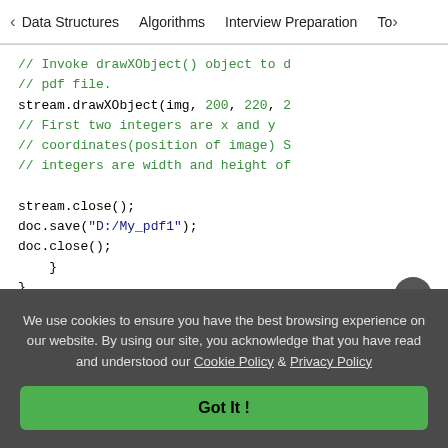< Data Structures   Algorithms   Interview Preparation   To>
// Invoke drawXObject() object to d
// pdf file.
stream.drawXObject(img, 200, 220, 2
// First two integers are x and y
// coordinates(position of image) S
// integers are width and height of

stream.close();
doc.save("D:/My_pdf1");
doc.close();
    }
}
We use cookies to ensure you have the best browsing experience on our website. By using our site, you acknowledge that you have read and understood our Cookie Policy & Privacy Policy
Got It !